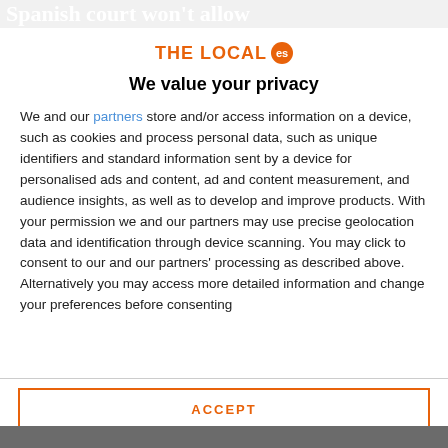Spanish court won't allow
[Figure (logo): The Local ES logo — orange text 'THE LOCAL' with orange circle badge showing 'es']
We value your privacy
We and our partners store and/or access information on a device, such as cookies and process personal data, such as unique identifiers and standard information sent by a device for personalised ads and content, ad and content measurement, and audience insights, as well as to develop and improve products. With your permission we and our partners may use precise geolocation data and identification through device scanning. You may click to consent to our and our partners' processing as described above. Alternatively you may access more detailed information and change your preferences before consenting
ACCEPT
MORE OPTIONS
[Figure (photo): Partial photo strip at bottom of page, showing people]